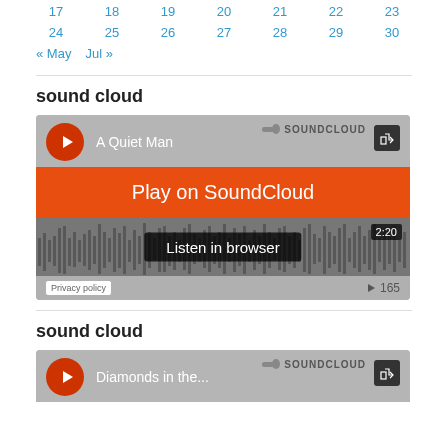| 17 | 18 | 19 | 20 | 21 | 22 | 23 |
| 24 | 25 | 26 | 27 | 28 | 29 | 30 |
« May   Jul »
sound cloud
[Figure (screenshot): SoundCloud embedded player widget showing 'A Quiet Man' track with orange 'Play on SoundCloud' overlay button, waveform display, 'Listen in browser' text, time 2:20, and play count 165]
sound cloud
[Figure (screenshot): SoundCloud embedded player widget (partial) showing 'Diamonds in the...' track]